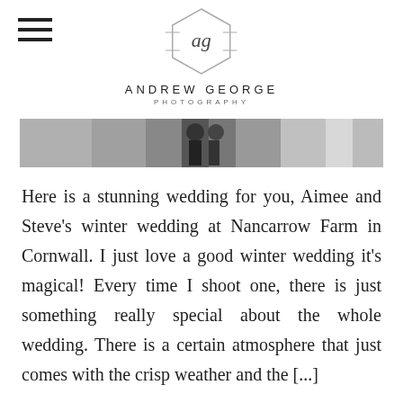[Figure (logo): Andrew George Photography logo — hexagon with cursive 'ag' inside and horizontal lines through the sides, above text 'ANDREW GEORGE PHOTOGRAPHY']
[Figure (photo): Black and white cropped wedding photo showing a couple outdoors in a wintry landscape]
Here is a stunning wedding for you, Aimee and Steve's winter wedding at Nancarrow Farm in Cornwall. I just love a good winter wedding it's magical! Every time I shoot one, there is just something really special about the whole wedding. There is a certain atmosphere that just comes with the crisp weather and the [...]